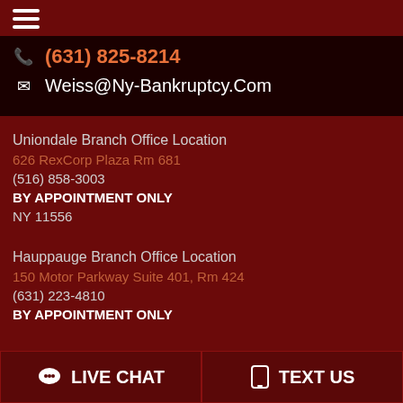[Figure (other): Hamburger menu icon (three horizontal white lines)]
(631) 825-8214
Weiss@Ny-Bankruptcy.Com
Uniondale Branch Office Location
626 RexCorp Plaza Rm 681
(516) 858-3003
BY APPOINTMENT ONLY
NY 11556
Hauppauge Branch Office Location
150 Motor Parkway Suite 401, Rm 424
(631) 223-4810
BY APPOINTMENT ONLY
LIVE CHAT
TEXT US